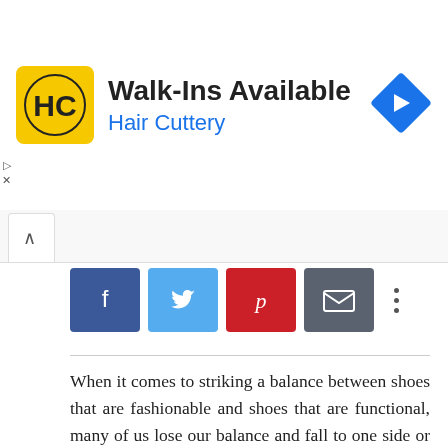[Figure (infographic): Hair Cuttery advertisement banner with logo, 'Walk-Ins Available' headline, 'Hair Cuttery' subtitle in blue, and a blue diamond-shaped arrow icon on the right]
[Figure (infographic): Social share buttons: Facebook (dark blue, f icon), Twitter (light blue, bird icon), Pinterest (red, p icon), Email (gray, envelope icon), and a three-dot more button]
When it comes to striking a balance between shoes that are fashionable and shoes that are functional, many of us lose our balance and fall to one side or the other. If you favor the function that your shoe serves far more than the style it showcases, you may be sacrificing your expression of personality and altering how others perceive you. On the other hand, if you favor a fashion-forward shoe far more than a functional one, you're bound to be sacrificing some serious comfort and even see bunions and a bad back